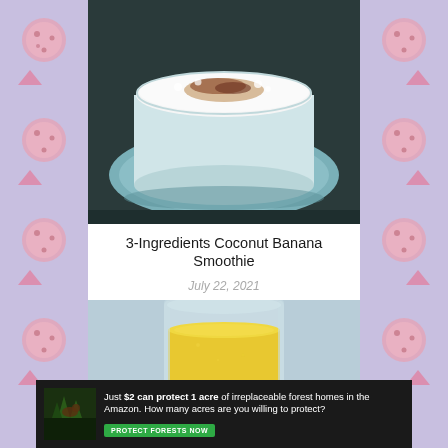[Figure (photo): Close-up of a frothy white coconut banana smoothie in a glass cup on a saucer, topped with brown spice powder]
3-Ingredients Coconut Banana Smoothie
July 22, 2021
[Figure (photo): A clear glass containing a yellow smoothie beverage on a light blue background]
[Figure (infographic): Advertisement banner: Just $2 can protect 1 acre of irreplaceable forest homes in the Amazon. How many acres are you willing to protect? PROTECT FORESTS NOW]